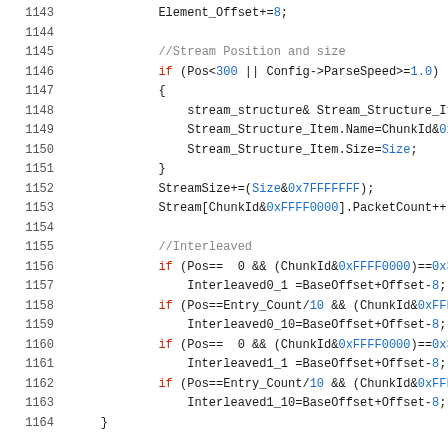[Figure (screenshot): Source code listing, lines 1143-1164, showing C++ code with stream structure handling, interleaved offset calculations, and conditional logic using hex constants.]